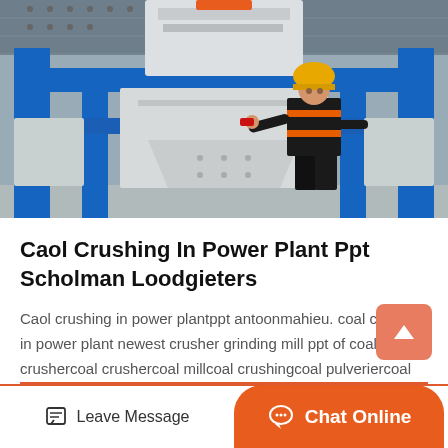[Figure (photo): A worker in a dark uniform with orange accents and a yellow hard hat stands in front of large industrial crushing/milling machine with white body and blue steel frame structure in a factory.]
Caol Crushing In Power Plant Ppt Scholman Loodgieters
Caol crushing in power plantppt antoonmahieu. coal crushers in power plant newest crusher grinding mill ppt of coal crushercoal crushercoal millcoal crushingcoal pulveriercoal mill coal crusher...